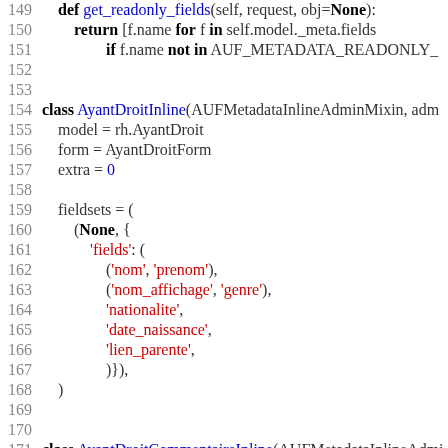[Figure (screenshot): Python source code screenshot showing class definitions AyantDroitInline, AyantDroitCommentaireInline, and ContratInline with line numbers 149-180]